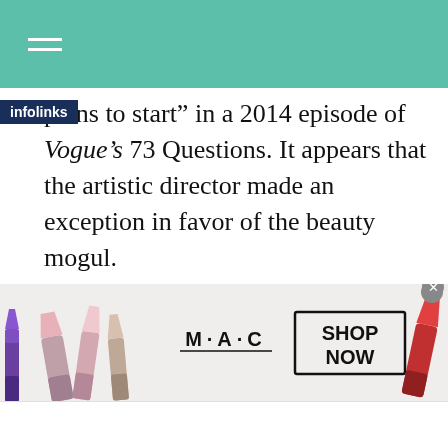plans to start” in a 2014 episode of Vogue’s 73 Questions. It appears that the artistic director made an exception in favor of the beauty mogul.
Since Kardashian’s first appearance, the two have been inseparable VogueCover with your then-husband Kanye West2014. The SelfishLater, author scored her first solo
[Figure (photo): MAC Cosmetics advertisement banner showing lipsticks in purple, pink and red, M·A·C logo, and a SHOP NOW button]